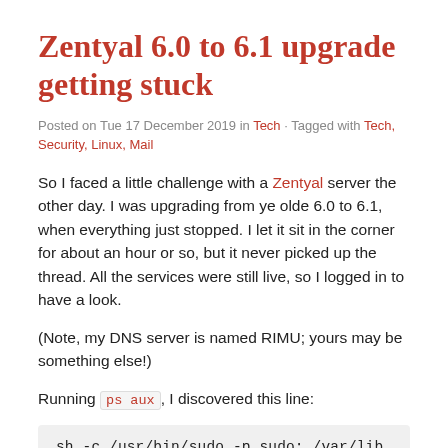Zentyal 6.0 to 6.1 upgrade getting stuck
Posted on Tue 17 December 2019 in Tech · Tagged with Tech, Security, Linux, Mail
So I faced a little challenge with a Zentyal server the other day. I was upgrading from ye olde 6.0 to 6.1, when everything just stopped. I let it sit in the corner for about an hour or so, but it never picked up the thread. All the services were still live, so I logged in to have a look.
(Note, my DNS server is named RIMU; yours may be something else!)
Running ps aux , I discovered this line:
sh -c /usr/bin/sudo -p sudo: /var/lib …